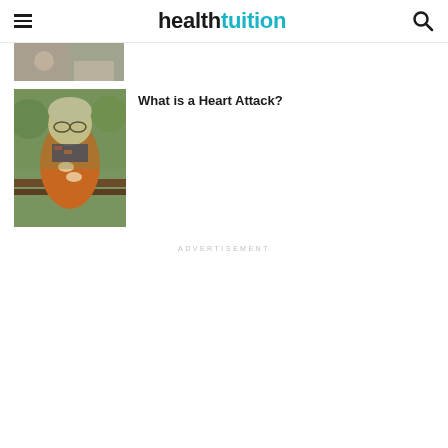healthtuition
[Figure (photo): Partially visible photo at top, cropped]
[Figure (photo): Older woman with blonde hair sitting on a bench outdoors, holding her chest as if experiencing chest pain, wearing an orange sweater and patterned scarf]
What is a Heart Attack?
ADVERTISEMENT